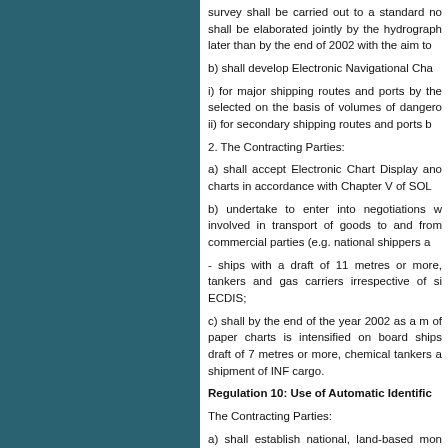survey shall be carried out to a standard no shall be elaborated jointly by the hydrograph later than by the end of 2002 with the aim to
b) shall develop Electronic Navigational Cha
i) for major shipping routes and ports by the selected on the basis of volumes of dangero ii) for secondary shipping routes and ports b
2. The Contracting Parties:
a) shall accept Electronic Chart Display and charts in accordance with Chapter V of SOL
b) undertake to enter into negotiations w involved in transport of goods to and from commercial parties (e.g. national shippers a
- ships with a draft of 11 metres or more, tankers and gas carriers irrespective of si ECDIS;
c) shall by the end of the year 2002 as a m of paper charts is intensified on board ships draft of 7 metres or more, chemical tankers a shipment of INF cargo.
Regulation 10: Use of Automatic Identific
The Contracting Parties:
a) shall establish national, land-based mon monitoring of the Baltic Sea Area within A1 s
b) shall establish a common Baltic Sea...